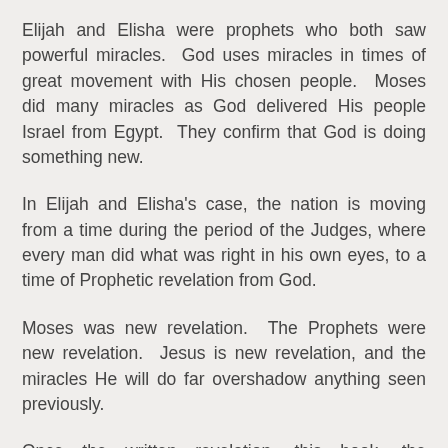Elijah and Elisha were prophets who both saw powerful miracles.  God uses miracles in times of great movement with His chosen people.  Moses did many miracles as God delivered His people Israel from Egypt.  They confirm that God is doing something new.
In Elijah and Elisha's case, the nation is moving from a time during the period of the Judges, where every man did what was right in his own eyes, to a time of Prophetic revelation from God.
Moses was new revelation.  The Prophets were new revelation.  Jesus is new revelation, and the miracles He will do far overshadow anything seen previously.
Once the written revelation, this book, the completed canon of God spoken scripture is closed, miracles are over.  The next time real miracles will be seen is when Anti-christ does miracles that lead the whole world astray into perdition.